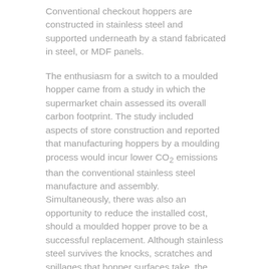Conventional checkout hoppers are constructed in stainless steel and supported underneath by a stand fabricated in steel, or MDF panels.
The enthusiasm for a switch to a moulded hopper came from a study in which the supermarket chain assessed its overall carbon footprint. The study included aspects of store construction and reported that manufacturing hoppers by a moulding process would incur lower CO2 emissions than the conventional stainless steel manufacture and assembly. Simultaneously, there was also an opportunity to reduce the installed cost, should a moulded hopper prove to be a successful replacement. Although stainless steel survives the knocks, scratches and spillages that hopper surfaces take, the limitations of sheet metal forming mean